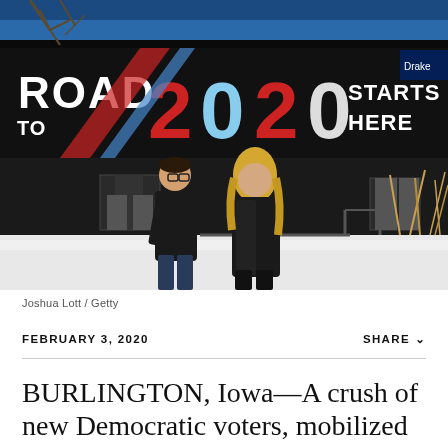[Figure (photo): Two people walking in front of a building with a large sign reading 'ROAD TO 2020 STARTS HERE' — a man in dark jacket and jeans and a woman in a dark coat, with snow on the ground and bare trees visible above.]
Joshua Lott / Getty
FEBRUARY 3, 2020
SHARE ∨
BURLINGTON, Iowa—A crush of new Democratic voters, mobilized by a wave of anti-